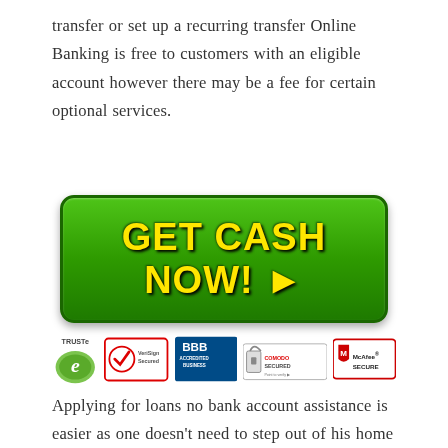transfer or set up a recurring transfer Online Banking is free to customers with an eligible account however there may be a fee for certain optional services.
[Figure (illustration): Green rounded rectangle button with yellow bold text 'GET CASH NOW!' and a right-pointing triangle arrow]
[Figure (illustration): Row of trust/security badges: TRUSTe, VeriSign Secured, BBB Accredited Business, Comodo Secured, McAfee Secure]
Applying for loans no bank account assistance is easier as one doesn't need to step out of his home and visit the lender office. These financial loans are.Bank of America Advantage Banking. An account that gives you more options.